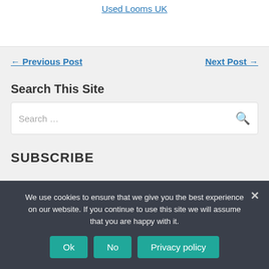Used Looms UK
← Previous Post     Next Post →
Search This Site
Search …
SUBSCRIBE
We use cookies to ensure that we give you the best experience on our website. If you continue to use this site we will assume that you are happy with it.
Ok  No  Privacy policy